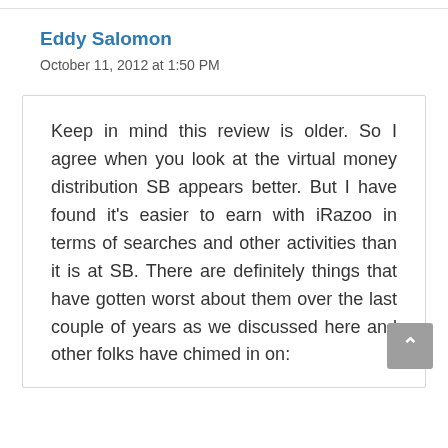Eddy Salomon
October 11, 2012 at 1:50 PM
Keep in mind this review is older. So I agree when you look at the virtual money distribution SB appears better. But I have found it’s easier to earn with iRazoo in terms of searches and other activities than it is at SB. There are definitely things that have gotten worst about them over the last couple of years as we discussed here and other folks have chimed in on: